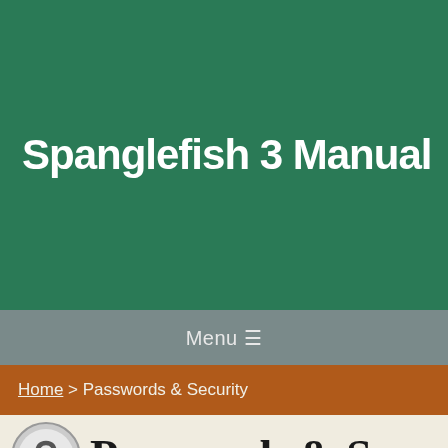Spanglefish 3 Manual
Menu ☰
Home > Passwords & Security
Passwords & Security